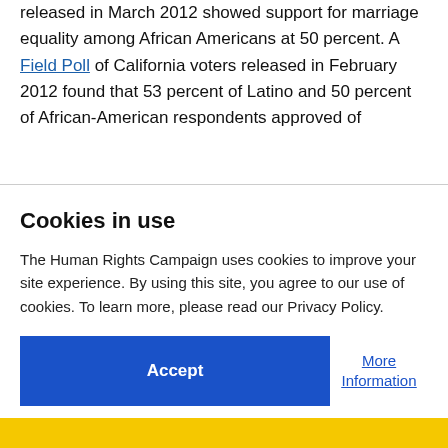released in March 2012 showed support for marriage equality among African Americans at 50 percent. A Field Poll of California voters released in February 2012 found that 53 percent of Latino and 50 percent of African-American respondents approved of
Cookies in use
The Human Rights Campaign uses cookies to improve your site experience. By using this site, you agree to our use of cookies. To learn more, please read our Privacy Policy.